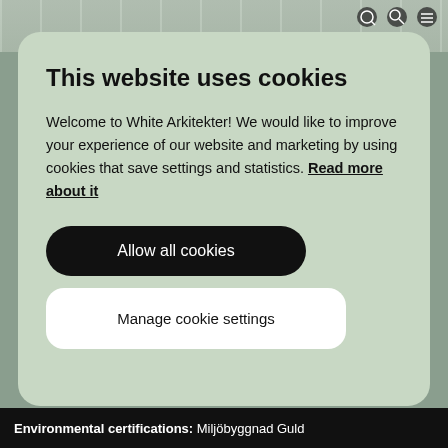[Figure (screenshot): Top portion of a website with a blurred/dark background image visible behind the cookie consent modal. Navigation icons visible in top right corner.]
This website uses cookies
Welcome to White Arkitekter! We would like to improve your experience of our website and marketing by using cookies that save settings and statistics. Read more about it
Allow all cookies
Manage cookie settings
Environmental certifications: Miljöbyggnad Guld